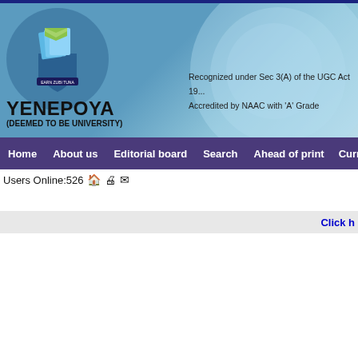[Figure (logo): Yenepoya (Deemed to Be University) website header with university logo, name, and accreditation text]
Home  About us  Editorial board  Search  Ahead of print  Curr...
Users Online:526
Click h...